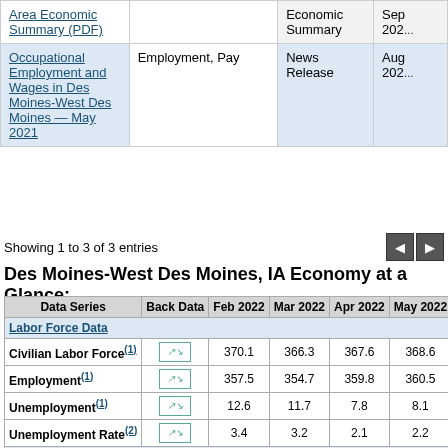| Title | Subject | Type | Date |
| --- | --- | --- | --- |
| Area Economic Summary (PDF) |  | Economic Summary | Sep 202... |
| Occupational Employment and Wages in Des Moines-West Des Moines — May 2021 | Employment, Pay | News Release | Aug 202... |
Showing 1 to 3 of 3 entries
Des Moines-West Des Moines, IA Economy at a Glance:
| Data Series | Back Data | Feb 2022 | Mar 2022 | Apr 2022 | May 2022 | June 2022 | July 2022 |
| --- | --- | --- | --- | --- | --- | --- | --- |
| Labor Force Data |  |  |  |  |  |  |  |
| Civilian Labor Force(1) | [chart] | 370.1 | 366.3 | 367.6 | 368.6 | 374.9 | (P) 374.5 |
| Employment(1) | [chart] | 357.5 | 354.7 | 359.8 | 360.5 | 365.4 | (P) 364.8 |
| Unemployment(1) | [chart] | 12.6 | 11.7 | 7.8 | 8.1 | 9.5 | (P) 9.7 |
| Unemployment Rate(2) | [chart] | 3.4 | 3.2 | 2.1 | 2.2 | 2.5 | (P) 2.6 |
| Nonfarm Wage and Salary Employment |  |  |  |  |  |  |  |